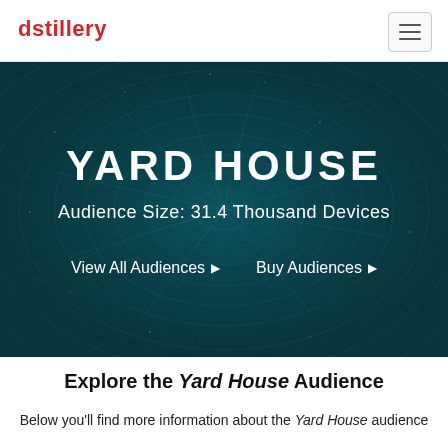dstillery
YARD HOUSE
Audience Size: 31.4 Thousand Devices
View All Audiences ▶   Buy Audiences ▶
Explore the Yard House Audience
Below you'll find more information about the Yard House audience